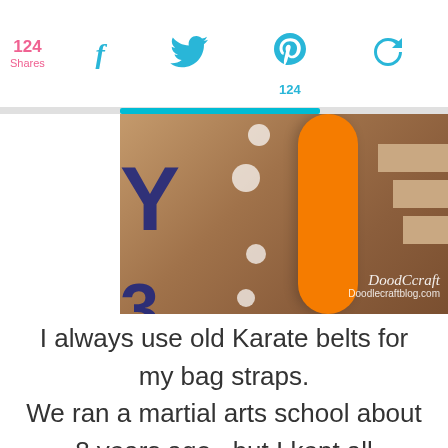124 Shares | Facebook | Twitter | Pinterest 124 | Refresh
[Figure (photo): Close-up photo of an orange polka-dot fabric roll (karate belt) against a brown cardboard background, with dark blue letters partially visible on the left and wooden step-like shapes on the right. Watermark reads DoodleCcraft / Doodlecraftblog.com]
I always use old Karate belts for my bag straps. We ran a martial arts school about 8 years ago...but I kept all the belts because they are so